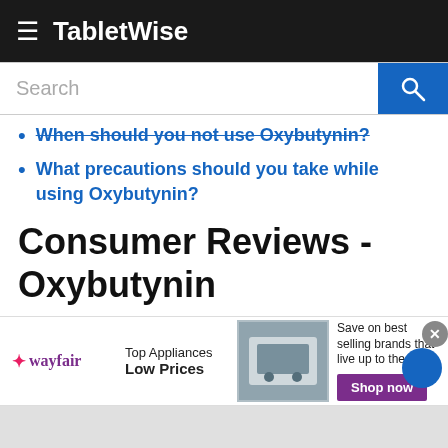TabletWise
When should you not use Oxybutynin?
What precautions should you take while using Oxybutynin?
Consumer Reviews - Oxybutynin
The following are the results of on-going survey on TabletWise.com for Oxybutynin. These results only
[Figure (other): Wayfair advertisement banner: Top Appliances Low Prices, Save on best selling brands that live up to the hype, Shop now button]